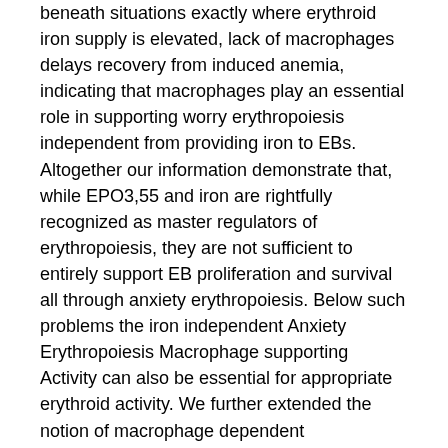beneath situations exactly where erythroid iron supply is elevated, lack of macrophages delays recovery from induced anemia, indicating that macrophages play an essential role in supporting worry erythropoiesis independent from providing iron to EBs. Altogether our information demonstrate that, while EPO3,55 and iron are rightfully recognized as master regulators of erythropoiesis, they are not sufficient to entirely support EB proliferation and survival all through anxiety erythropoiesis. Below such problems the iron independent Anxiety Erythropoiesis Macrophage supporting Activity can also be essential for appropriate erythroid activity. We further extended the notion of macrophage dependent erythropoiesis to pathological situations linked with elevated erythropoietic activity, such as Polycythemia vera or B thalassemia. Polycythemia vera is known as a clonal stem selleck chemical cell disorder by which the somatic JAK2V617F mutation36 41 prospects to a hyperproliferative phenotype. While our information usually do not question the importance of the JAK2V617F mutation for Polycythemia vera, it supplies an additional degree of complexity to this disorder. We plainly